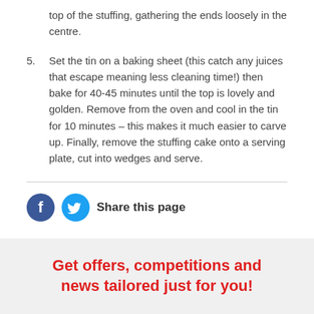top of the stuffing, gathering the ends loosely in the centre.
5. Set the tin on a baking sheet (this catch any juices that escape meaning less cleaning time!) then bake for 40-45 minutes until the top is lovely and golden. Remove from the oven and cool in the tin for 10 minutes – this makes it much easier to carve up. Finally, remove the stuffing cake onto a serving plate, cut into wedges and serve.
Share this page
Get offers, competitions and news tailored just for you!